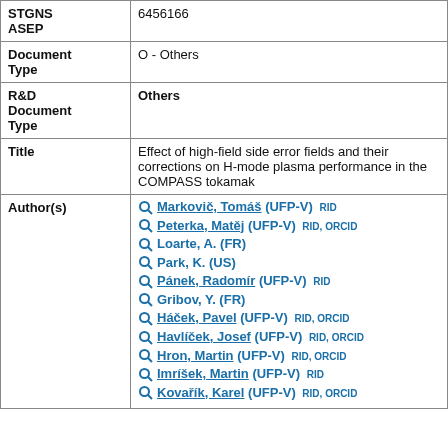| Field | Value |
| --- | --- |
| STGNS ASEP | 6456166 |
| Document Type | O - Others |
| R&D Document Type | Others |
| Title | Effect of high-field side error fields and their corrections on H-mode plasma performance in the COMPASS tokamak |
| Author(s) | Markovič, Tomáš (UFP-V) RID; Peterka, Matěj (UFP-V) RID, ORCID; Loarte, A. (FR); Park, K. (US); Pánek, Radomír (UFP-V) RID; Gribov, Y. (FR); Háček, Pavel (UFP-V) RID, ORCID; Havlíček, Josef (UFP-V) RID, ORCID; Hron, Martin (UFP-V) RID, ORCID; Imríšek, Martin (UFP-V) RID; Kovařík, Karel (UFP-V) RID, ORCID |